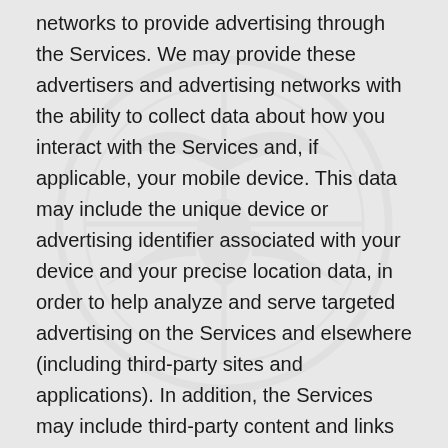networks to provide advertising through the Services. We may provide these advertisers and advertising networks with the ability to collect data about how you interact with the Services and, if applicable, your mobile device. This data may include the unique device or advertising identifier associated with your device and your precise location data, in order to help analyze and serve targeted advertising on the Services and elsewhere (including third-party sites and applications). In addition, the Services may include third-party content and links to other third-party websites. These advertisers, advertising networks, and third parties may use cookies, pixels, and web beacons to track the actions of users online over time and across different websites or platforms in order to deliver targeted electronic advertisements to an individual user.